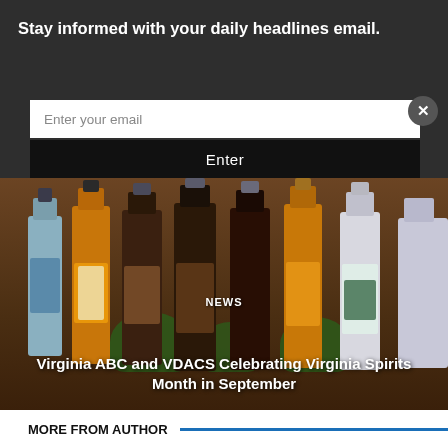Stay informed with your daily headlines email.
Enter your email
Enter
[Figure (photo): A row of Virginia spirits/whiskey bottles displayed against a wooden background with green foliage, with a NEWS label and article title overlaid]
NEWS
Virginia ABC and VDACS Celebrating Virginia Spirits Month in September
MORE FROM AUTHOR
[Figure (photo): Partial view of a second article's thumbnail photo at the bottom of the page]